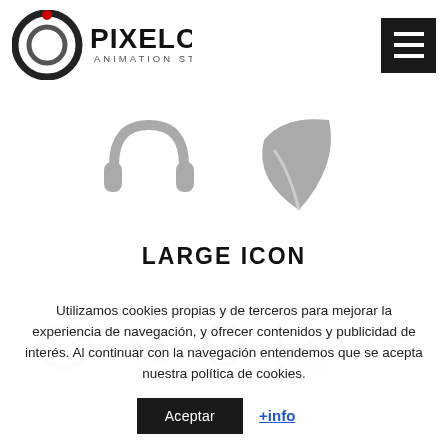[Figure (logo): Pixelon Animation Studio logo — circular P icon with red dot, bold PIXELON text, subtitle ANIMATION STUDIO]
[Figure (illustration): Menu/hamburger button icon in black square]
[Figure (illustration): Two large gray icons: headphones and leaf/feather]
LARGE ICON
[Figure (illustration): Row of small gray icons: envelope/mail, hand/reply, headphone/audio, chart/stats, arrow/share]
Utilizamos cookies propias y de terceros para mejorar la experiencia de navegación, y ofrecer contenidos y publicidad de interés. Al continuar con la navegación entendemos que se acepta nuestra política de cookies.
Aceptar
+info